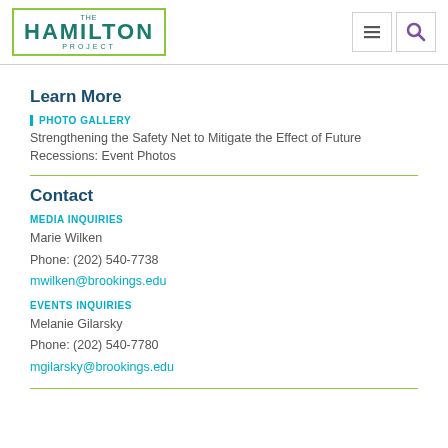THE HAMILTON PROJECT
Learn More
PHOTO GALLERY
Strengthening the Safety Net to Mitigate the Effect of Future Recessions: Event Photos
Contact
MEDIA INQUIRIES
Marie Wilken
Phone: (202) 540-7738
mwilken@brookings.edu
EVENTS INQUIRIES
Melanie Gilarsky
Phone: (202) 540-7780
mgilarsky@brookings.edu